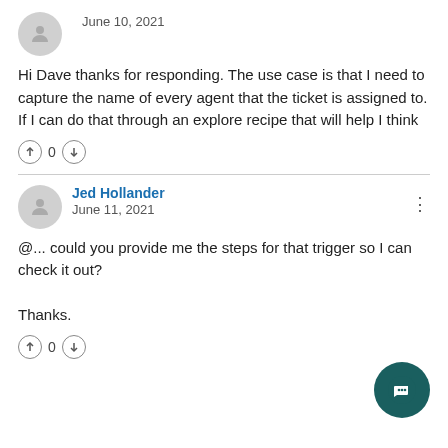June 10, 2021
Hi Dave thanks for responding. The use case is that I need to capture the name of every agent that the ticket is assigned to. If I can do that through an explore recipe that will help I think
0
Jed Hollander
June 11, 2021
@... could you provide me the steps for that trigger so I can check it out?

Thanks.
0